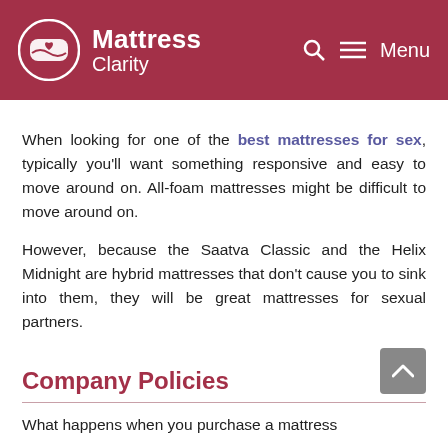Mattress Clarity
When looking for one of the best mattresses for sex, typically you'll want something responsive and easy to move around on. All-foam mattresses might be difficult to move around on.
However, because the Saatva Classic and the Helix Midnight are hybrid mattresses that don't cause you to sink into them, they will be great mattresses for sexual partners.
Company Policies
What happens when you purchase a mattress